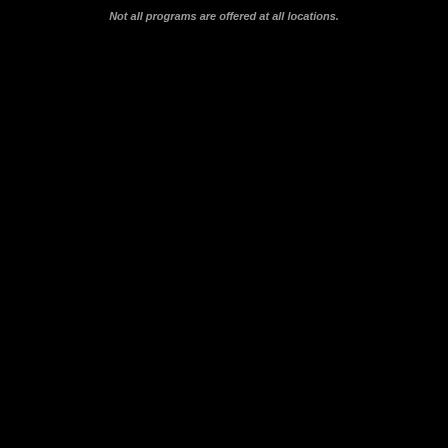Not all programs are offered at all locations.